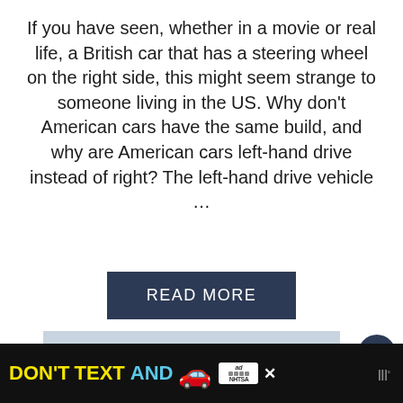If you have seen, whether in a movie or real life, a British car that has a steering wheel on the right side, this might seem strange to someone living in the US. Why don't American cars have the same build, and why are American cars left-hand drive instead of right? The left-hand drive vehicle …
[Figure (other): READ MORE button — dark navy rectangle with white uppercase text 'READ MORE']
[Figure (photo): A silver/grey Ford SUV (Edge or similar) photographed from a front-three-quarter angle against a light blue-grey sky background]
[Figure (screenshot): Black ad banner at bottom reading 'DON'T TEXT AND' in yellow and cyan, with a red car emoji, an ad logo, a close X button, and a weather/W° app icon on the right]